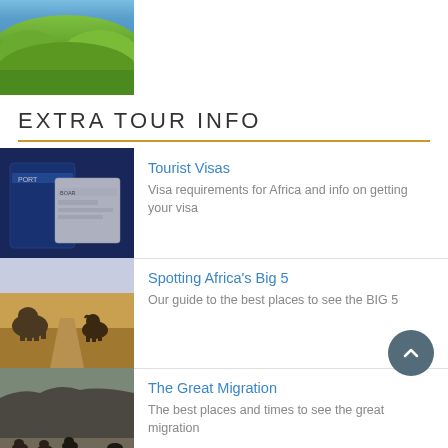[Figure (photo): Aerial/landscape photo showing coastline with lush green vegetation and blue sky]
EXTRA TOUR INFO
Tourist Visas — Visa requirements for Africa and info on getting your visa
Spotting Africa's Big 5 — Our guide to the best places to see the BIG 5
The Great Migration — The best places and times to see the great migration
Gorilla Trekking — Close encounters with these gentle giants of the jungle
About Overland Safaris — Information on travelling in Africa on an overland